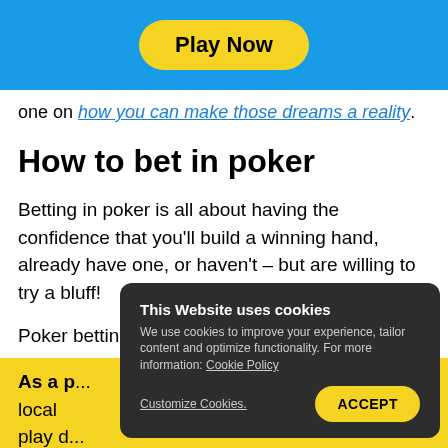[Figure (screenshot): Blue header banner with a yellow 'Play Now' button in pill/capsule shape]
one on how you can make those dreams a reality.
How to bet in poker
Betting in poker is all about having the confidence that you'll build a winning hand, already have one, or haven't – but are willing to try a bluff!
Poker betting works in rounds, allowing you to assess your hand against the possible cards your oppo...
As a p... sit our local ... d play d...
This Website uses cookies
We use cookies to improve your experience, tailor content and optimize functionality. For more information: Cookie Policy
Customize Cookies.
ACCEPT